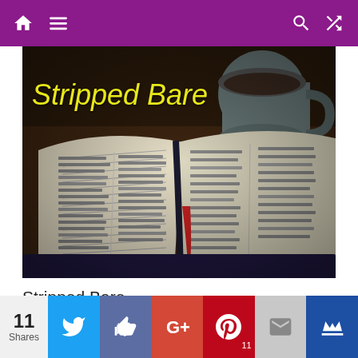Navigation bar with home, menu, search, shuffle icons
[Figure (photo): Open Bible with text pages, a mug in the background, dark warm tones. Yellow italic text overlay reads 'Stripped Bare']
Stripped Bare
January 24, 2016   Jason
11 Shares — Twitter, Facebook, Google+, Pinterest, Email, Crown social share buttons